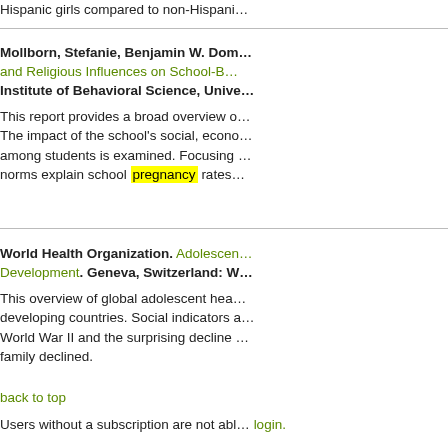Hispanic girls compared to non-Hispani…
Mollborn, Stefanie, Benjamin W. Dom… and Religious Influences on School-B… Institute of Behavioral Science, Unive…
This report provides a broad overview o… The impact of the school's social, econo… among students is examined. Focusing … norms explain school pregnancy rates…
World Health Organization. Adolescen… Development. Geneva, Switzerland: W…
This overview of global adolescent hea… developing countries. Social indicators a… World War II and the surprising decline … family declined.
back to top
Users without a subscription are not abl… login.